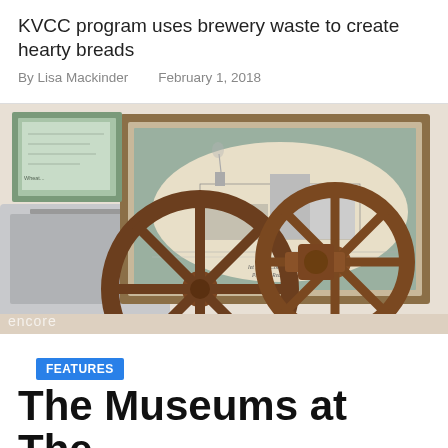KVCC program uses brewery waste to create hearty breads
By Lisa Mackinder   February 1, 2018
[Figure (photo): Photo of rusty industrial mill wheel gears in front of a framed historical engraving of a factory/mill complex, with a laptop visible on the left side. Watermark 'encore' visible at bottom left.]
FEATURES
The Museums at The Mill